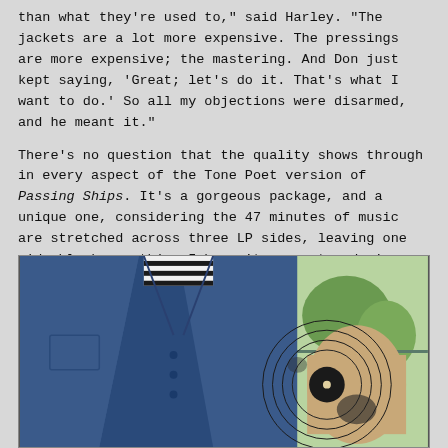than what they're used to," said Harley. "The jackets are a lot more expensive. The pressings are more expensive; the mastering. And Don just kept saying, 'Great; let's do it. That's what I want to do.' So all my objections were disarmed, and he meant it."
There's no question that the quality shows through in every aspect of the Tone Poet version of Passing Ships. It's a gorgeous package, and a unique one, considering the 47 minutes of music are stretched across three LP sides, leaving one side blank—something I haven't encountered since blues guitarist Johnny Winter's sophomore recording for Columbia Records, Second Winter, in 1969.
[Figure (photo): A person wearing a denim jacket and striped shirt holds a large black vinyl LP record. The background shows a window with trees visible outside.]